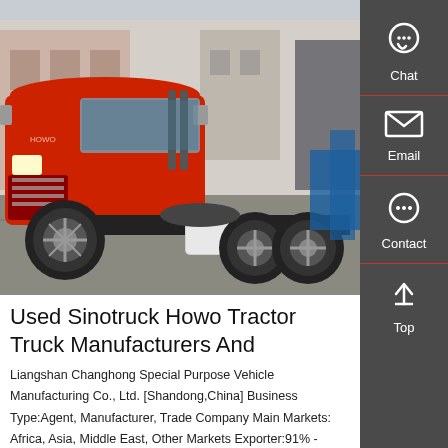[Figure (photo): A red Sinotruck Howo tractor truck (semi-truck cab without trailer) parked in an industrial/warehouse area. The truck is red with black chassis, multiple large rear axles, and a chrome fuel tank. Background shows buildings and other vehicles/equipment.]
Used Sinotruck Howo Tractor Truck Manufacturers And
Liangshan Changhong Special Purpose Vehicle Manufacturing Co., Ltd. [Shandong,China] Business Type:Agent, Manufacturer, Trade Company Main Markets: Africa, Asia, Middle East, Other Markets Exporter:91% - Certs:ISO9001, CCC Description:Used Sinotruck Tractor